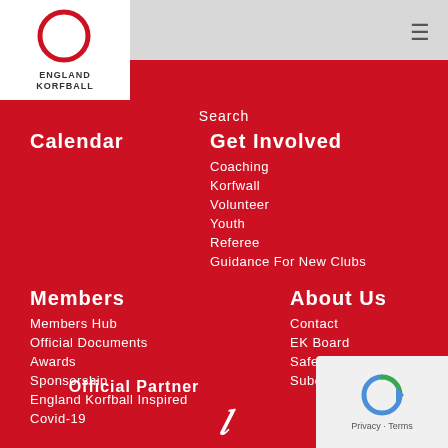[Figure (logo): England Korfball circular logo with red ring and text ENGLAND KORFBALL below]
Search
Calendar
Get Involved
Coaching
Korfwall
Volunteer
Youth
Referee
Guidance For New Clubs
Members
About Us
Members Hub
Contact
Official Documents
EK Board
Awards
Safeguarding
Sponsorship
Subcommittees
England Korfball Inspired
Covid-19
Official Partner